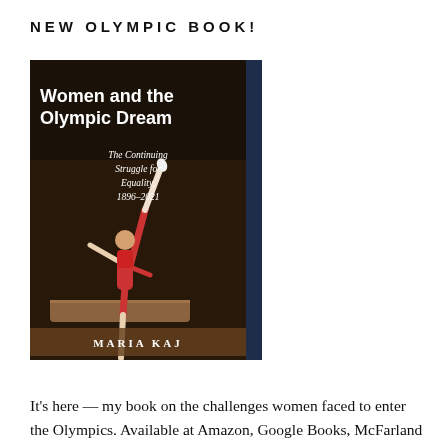NEW OLYMPIC BOOK!
[Figure (photo): Book cover of 'Women and the Olympic Dream: The Continuing Struggle for Equality, 1896–2021' by Maria Kaj, featuring a gymnast performing on the balance beam]
It's here — my book on the challenges women faced to enter the Olympics. Available at Amazon, Google Books, McFarland publishing and other fine